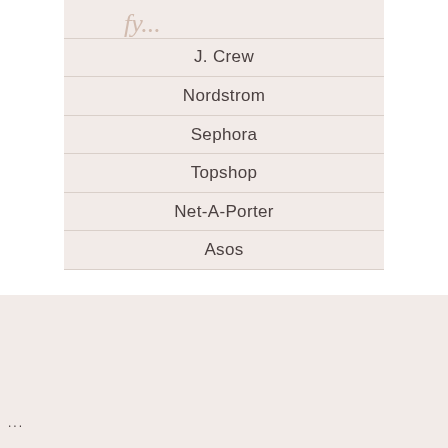[Figure (other): Partial cursive/script text header at top of a list panel, text partially cut off]
J. Crew
Nordstrom
Sephora
Topshop
Net-A-Porter
Asos
...